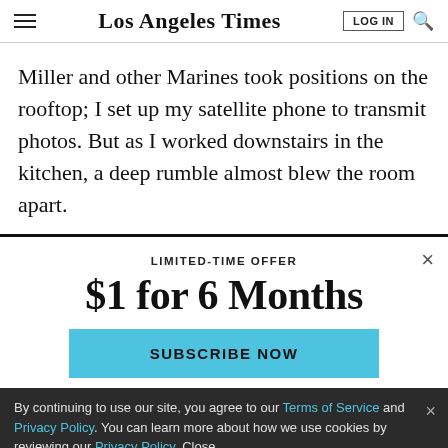Los Angeles Times
Miller and other Marines took positions on the rooftop; I set up my satellite phone to transmit photos. But as I worked downstairs in the kitchen, a deep rumble almost blew the room apart.
LIMITED-TIME OFFER
$1 for 6 Months
SUBSCRIBE NOW
By continuing to use our site, you agree to our Terms of Service and Privacy Policy. You can learn more about how we use cookies by reviewing our Privacy Policy. Close